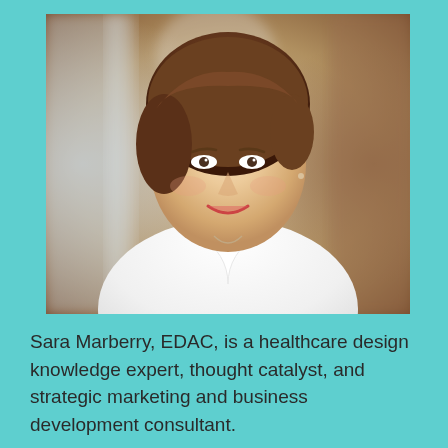[Figure (photo): Professional headshot portrait of Sara Marberry, EDAC. A middle-aged woman with short brown hair, wearing a white collared shirt and a delicate necklace, smiling, with a blurred indoor hallway background.]
Sara Marberry, EDAC, is a healthcare design knowledge expert, thought catalyst, and strategic marketing and business development consultant.